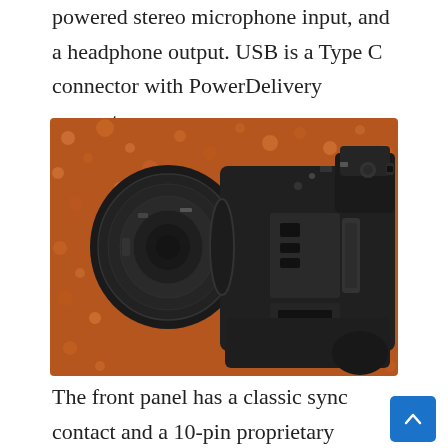powered stereo microphone input, and a headphone output. USB is a Type C connector with PowerDelivery support.
[Figure (photo): Top-down view of a mirrorless camera with a large zoom lens attached, sitting on a copper/rose gold glitter background. The side panel of the camera body is open showing ports and card slots.]
The front panel has a classic sync contact and a 10-pin proprietary remote control connector